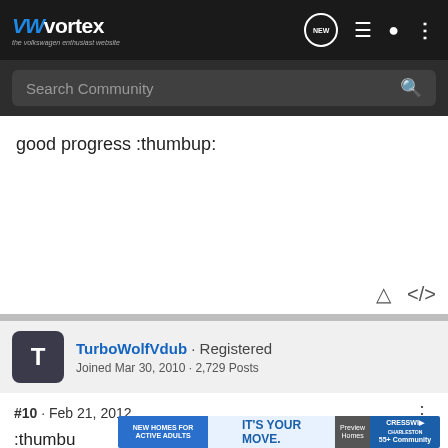VWvortex · the volkswagen enthusiast website
Search Community
good progress :thumbup:
TurboWolfVdub · Registered
Joined Mar 30, 2010 · 2,729 Posts
#10 · Feb 21, 2012
:thumbu